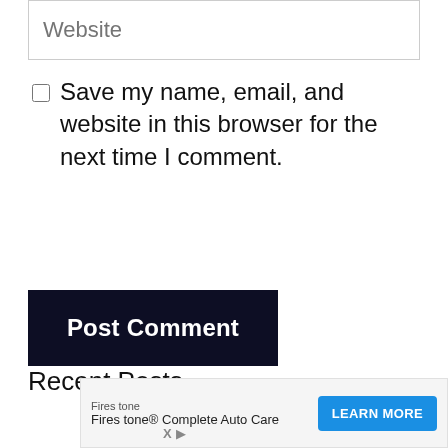Website
Save my name, email, and website in this browser for the next time I comment.
Post Comment
Recent Posts
[Figure (screenshot): Firestone advertisement banner with 'LEARN MORE' button]